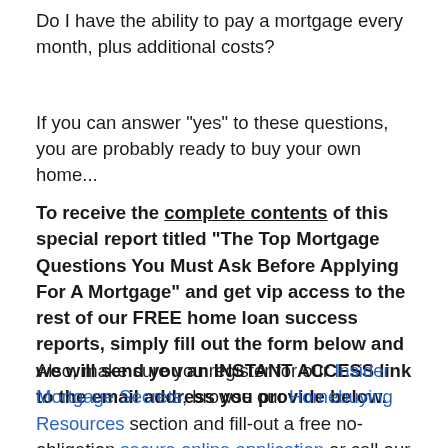Do I have the ability to pay a mortgage every month, plus additional costs?
If you can answer "yes" to these questions, you are probably ready to buy your own home...
To receive the complete contents of this special report titled "The Top Mortgage Questions You Must Ask Before Applying For A Mortgage" and get vip access to the rest of our FREE home loan success reports, simply fill out the form below and we will send you an INSTANT ACCESS link to the email address you provide below.
Also, make sure you register for our Insider Mortgage Secrets, browse our Homebuying Resources section and fill-out a free no-obligation secure online application or call our Chandler, Arizona office at 404-